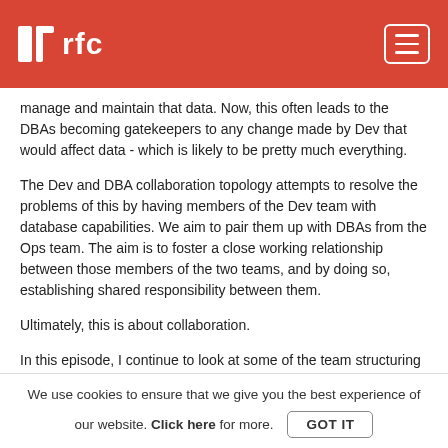rfc
manage and maintain that data. Now, this often leads to the DBAs becoming gatekeepers to any change made by Dev that would affect data - which is likely to be pretty much everything.
The Dev and DBA collaboration topology attempts to resolve the problems of this by having members of the Dev team with database capabilities. We aim to pair them up with DBAs from the Ops team. The aim is to foster a close working relationship between those members of the two teams, and by doing so, establishing shared responsibility between them.
Ultimately, this is about collaboration.
In this episode, I continue to look at some of the team structuring coming out of the DevOps Topology website. While
We use cookies to ensure that we give you the best experience of our website. Click here for more. GOT IT